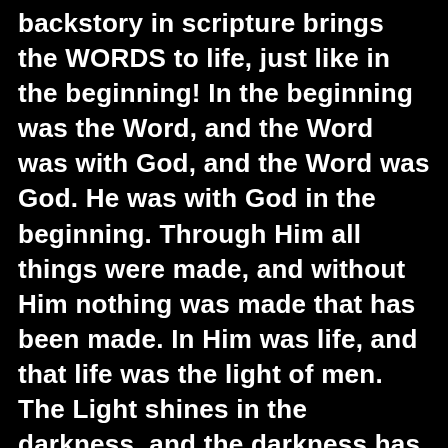backstory in scripture brings the WORDS to life, just like in the beginning! In the beginning was the Word, and the Word was with God, and the Word was God. He was with God in the beginning. Through Him all things were made, and without Him nothing was made that has been made. In Him was life, and that life was the light of men. The Light shines in the darkness, and the darkness has not overcome it. (John 1:1–5) These 2 prophets, these 2 disciples are both talking about the same Servant of the Father, Jesus our Lord, Savior, the Messiah! God delivered his people from bondage in Egypt, made a covenant with them, and brought them through wilderness into the land of Canaan. They became a nation and built a temple for the Lord. For centuries